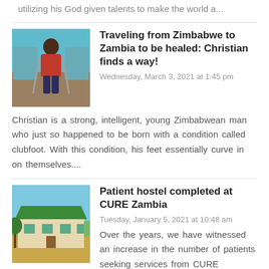utilizing his God given talents to make the world a...
[Figure (photo): Young man sitting in a chair with crutches, wearing a red shirt, in a room with teal walls and chairs]
Traveling from Zimbabwe to Zambia to be healed: Christian finds a way!
Wednesday, March 3, 2021 at 1:45 pm
Christian is a strong, intelligent, young Zimbabwean man who just so happened to be born with a condition called clubfoot. With this condition, his feet essentially curve in on themselves....
[Figure (photo): Building with green roof, trees and grass in foreground, outdoor setting]
Patient hostel completed at CURE Zambia
Tuesday, January 5, 2021 at 10:48 am
Over the years, we have witnessed an increase in the number of patients seeking services from CURE Zambia.  In order for us to meet